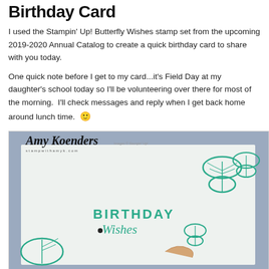Birthday Card
I used the Stampin' Up! Butterfly Wishes stamp set from the upcoming 2019-2020 Annual Catalog to create a quick birthday card to share with you today.
One quick note before I get to my card...it's Field Day at my daughter's school today so I'll be volunteering over there for most of the morning.  I'll check messages and reply when I get back home around lunch time.  🙂
[Figure (photo): Photo of a handmade birthday card featuring the Stampin' Up! Butterfly Wishes stamp set, showing butterflies in teal/mint color and text reading BIRTHDAY Wishes. The card has a watermark reading Amy Koenders and stampwithamyk.com]